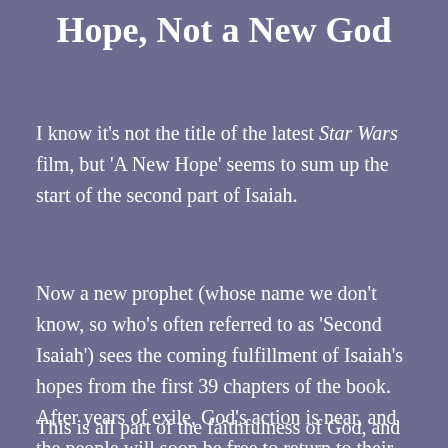Hope, Not a New God
I know it's not the title of the latest Star Wars film, but 'A New Hope' seems to sum up the start of the second part of Isaiah.
Now a new prophet (whose name we don't know, so who's often referred to as 'Second Isaiah') sees the coming fulfillment of Isaiah's hopes from the first 39 chapters of the book. After years of exile, God's action is near, and the people will soon be free to return to their land.
This is all part of the faithfulness of God, and it's here...